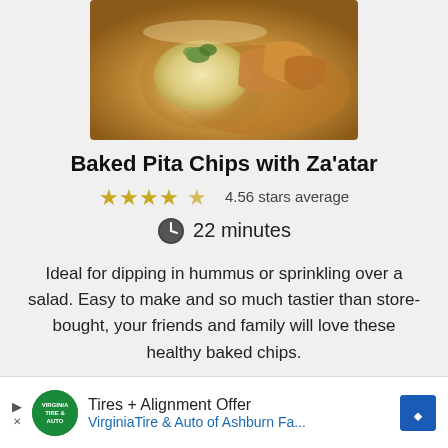[Figure (photo): Photo of baked pita chips with za'atar and hummus dip in a glass bowl]
Baked Pita Chips with Za'atar
4.56 stars average
22 minutes
Ideal for dipping in hummus or sprinkling over a salad. Easy to make and so much tastier than store-bought, your friends and family will love these healthy baked chips.
MAKE THIS RECIPE
Tires + Alignment Offer VirginiaTire & Auto of Ashburn Fa...